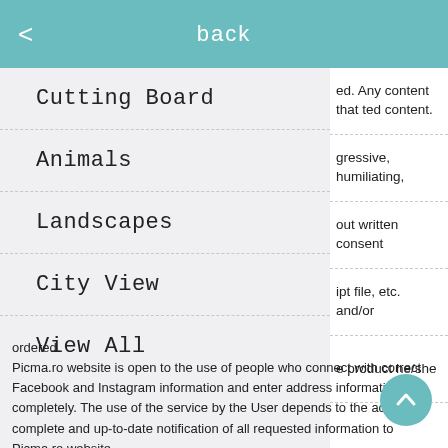< back
Cutting Board
Animals
Landscapes
City View
View All
ed. Any content that ted content. gressive, humiliating, out written consent ipt file, etc. and/or e product he/she ordered. Picma.ro website is open to the use of people who connect with correct Facebook and Instagram information and enter address information completely. The use of the service by the User depends to the accurate, complete and up-to-date notification of all requested information to Picma.ro website. Minors can use the Picma.ro website only with the permission of an ac who has a credit card. Fiesta Catering Service S.R.L. reserves the right to deny people who attempted or